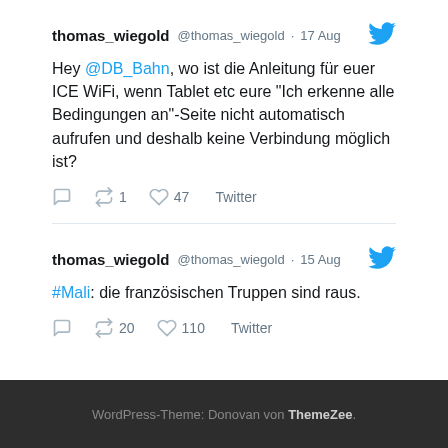thomas_wiegold @thomas_wiegold · 17 Aug
Hey @DB_Bahn, wo ist die Anleitung für euer ICE WiFi, wenn Tablet etc eure "Ich erkenne alle Bedingungen an"-Seite nicht automatisch aufrufen und deshalb keine Verbindung möglich ist?
Retweet 1 · Like 47 · Twitter
thomas_wiegold @thomas_wiegold · 15 Aug
#Mali: die französischen Truppen sind raus.
Retweet 20 · Like 110 · Twitter
WordPress-Theme: Donovan von ThemeZee.